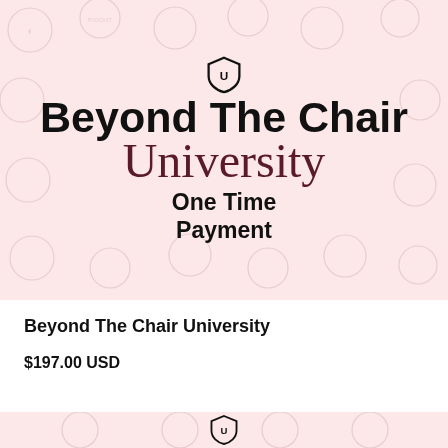[Figure (logo): Beyond The Chair University branded banner with pink watermark pattern background, shield logo icon, bold 'Beyond The Chair' title, script 'University' subtitle, and 'One Time Payment' text]
Beyond The Chair University
$197.00 USD
[Figure (logo): Partial pink watermark banner bottom with shield logo icon visible]